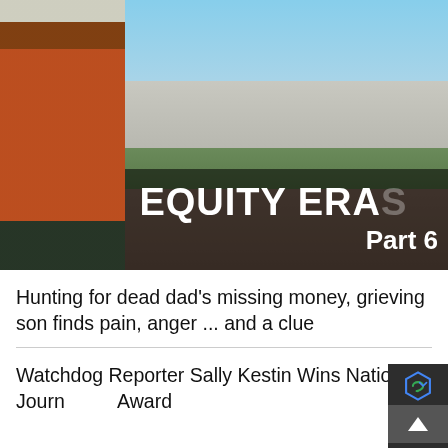[Figure (photo): A thumbnail image for 'Equity Erasure Part 6' showing a man in an orange shirt on the left and a house exterior on the right, with bold text overlay reading 'EQUITY ERAS... Part 6']
Hunting for dead dad's missing money, grieving son finds pain, anger ... and a clue
Watchdog Reporter Sally Kestin Wins National Journ... Award